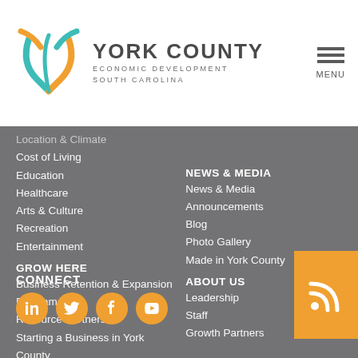[Figure (logo): York County Economic Development South Carolina logo with stylized Y mark in teal and orange]
YORK COUNTY
ECONOMIC DEVELOPMENT
SOUTH CAROLINA
Location & Climate (faded)
Cost of Living
Education
Healthcare
Arts & Culture
Recreation
Entertainment
GROW HERE
Business Retention & Expansion Program
Resource Partners
Starting a Business in York County
Entrepreneurship & Technology
Target Industries
Made in York County
CONNECT
NEWS & MEDIA
News & Media
Announcements
Blog
Photo Gallery
Made in York County
ABOUT US
Leadership
Staff
Growth Partners
[Figure (logo): RSS feed icon button in orange square]
[Figure (logo): Social media icons: LinkedIn, Twitter, Facebook, YouTube in orange circles]